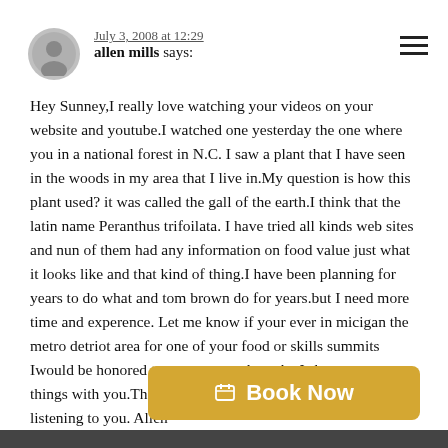July 3, 2008 at 12:29
allen mills says:
Hey Sunney,I really love watching your videos on your website and youtube.I watched one yesterday the one where you in a national forest in N.C. I saw a plant that I have seen in the woods in my area that I live in.My question is how this plant used? it was called the gall of the earth.I think that the latin name Peranthus trifoilata. I have tried all kinds web sites and nun of them had any information on food value just what it looks like and that kind of thing.I have been planning for years to do what and tom brown do for years.but I need more time and experence. Let me know if your ever in micigan the metro detriot area for one of your food or skills summits Iwould be honored to meet you and maybe I share some things with you.Thank You, sunny I love wacting and listening to you. Allen
Reply
Book Now